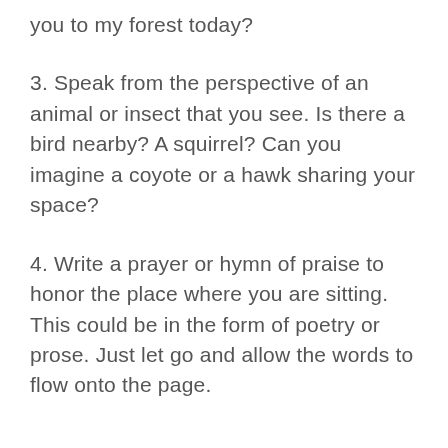you to my forest today?
3. Speak from the perspective of an animal or insect that you see. Is there a bird nearby? A squirrel? Can you imagine a coyote or a hawk sharing your space?
4. Write a prayer or hymn of praise to honor the place where you are sitting. This could be in the form of poetry or prose. Just let go and allow the words to flow onto the page.